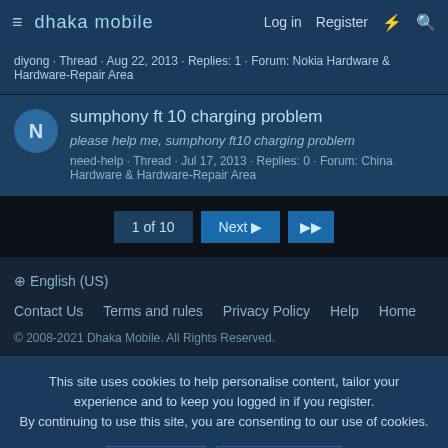dhaka mobile  Log in  Register
diyong · Thread · Aug 22, 2013 · Replies: 1 · Forum: Nokia Hardware & Hardware-Repair Area
sumphony ft 10 charging problem
please help me, sumphony ft10 charging problem
need-help · Thread · Jul 17, 2013 · Replies: 0 · Forum: China Hardware & Hardware-Repair Area
1 of 10  Next  ▶▶
⊕ English (US)
Contact Us  Terms and rules  Privacy Policy  Help  Home
© 2008-2021 Dhaka Mobile. All Rights Reserved.
This site uses cookies to help personalise content, tailor your experience and to keep you logged in if you register. By continuing to use this site, you are consenting to our use of cookies.
✓ Accept  Learn more...